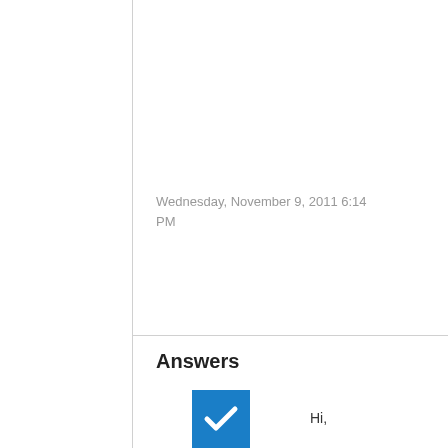Wednesday, November 9, 2011 6:14 PM
Answers
[Figure (screenshot): Blue checkbox with white checkmark indicating accepted answer]
0
Sign in to vote
Hi,